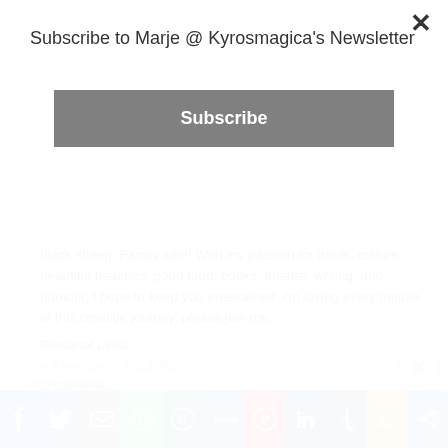Subscribe to Marje @ Kyrosmagica's Newsletter
Subscribe
black sheep. Family joke! With my passion for travel, culture, beautiful beaches, good food, books, theatre, writing, and humour, I hope to keep you entertained. I'm loving every minute of this creative journey, please join me.
Personal Links
Member of Book Blogs
Facebook
Instagram
M J Mallon YA Author and Poet
Advertisements
[Figure (screenshot): Advertisement banner: Search, browse, and email with no tracking. DuckDuckGo logo visible.]
[Figure (infographic): Social share bar with icons: Facebook, Twitter, Email, WhatsApp, WordPress, MeWe, Pinterest, LinkedIn, Tumblr, Amazon, Share]